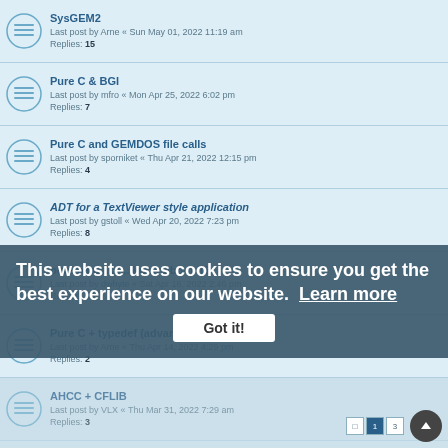SysGEM2 — Last post by Arne « Sun May 01, 2022 11:19 am — Replies: 15
Pure C & BGI — Last post by mfro « Mon Apr 25, 2022 6:02 pm — Replies: 7
Pure C and GEMDOS file calls — Last post by sporniket « Thu Apr 21, 2022 12:15 pm — Replies: 4
ADT for a TextViewer style application — Last post by gstoll « Wed Apr 20, 2022 7:23 pm — Replies: 8
pure pascal,,,,,. know about it? — Last post by dwhyte « Sat Apr 16, 2022 2:46 pm — Replies: 16
Pure C + typedef (advanced declaration) — Last post by Arne « Thu Apr 14, 2022 4:29 pm — Replies: 2
AHCC + CFLIB — Last post by VLX « Thu Mar 31, 2022 7:29 am — Replies: 3
Last post by Arne « Sun Mar 27, 2022 3:29 pm — Replies: 3
Writing simple GUI another GEM demo coding in C — Last post by ThorstenOtto « Mon Mar 21, 2022 5:27 am — Replies: 67
This website uses cookies to ensure you get the best experience on our website. Learn more
Got it!